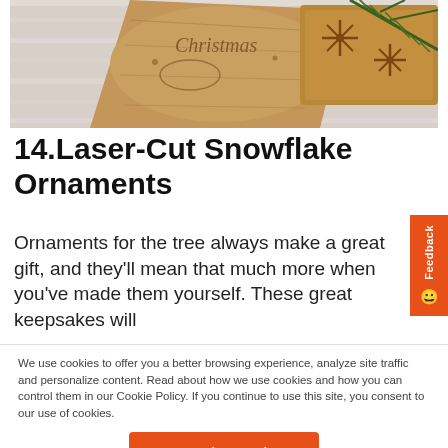[Figure (photo): Laser-cut wooden Christmas ornaments and engraved wooden plaque with 'Christmas' text, displayed on a white wood surface with pine branch.]
14.Laser-Cut Snowflake Ornaments
Ornaments for the tree always make a great gift, and they'll mean that much more when you've made them yourself. These great keepsakes will
We use cookies to offer you a better browsing experience, analyze site traffic and personalize content. Read about how we use cookies and how you can control them in our Cookie Policy. If you continue to use this site, you consent to our use of cookies.
I understand